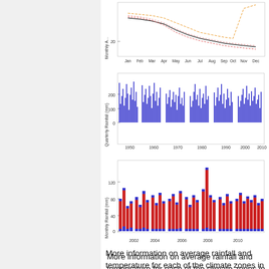[Figure (continuous-plot): Top chart: Monthly Amplitude (y-axis) vs months Jan-Dec (x-axis), showing multiple colored lines (black, red/pink dashed, orange dashed). Y-axis shows value ~20.]
[Figure (bar-chart): Middle chart: Quarterly Rainfall (mm) from 1950 to 2010, bar chart with blue bars. Values range from 0 to ~250mm.]
[Figure (bar-chart): Bottom chart: Monthly Rainfall (mm) from 2002 to 2012, showing blue and red overlapping bars. Values range 0 to ~120mm.]
More information on average rainfall and temperature for each of the climate zones in Sudan can be seen at the Sudan climate page.
These maps and graphs were developed from the CRU TS 3.21 dataset produced